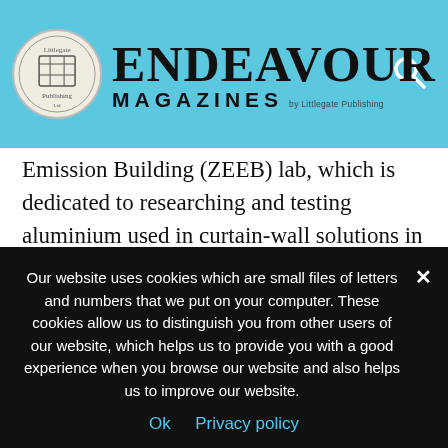Endeavour Magazines by Littlegate Publishing
Emission Building (ZEEB) lab, which is dedicated to researching and testing aluminium used in curtain-wall solutions in a study to create energy, emission and carbon neutral buildings in the Middle East. This lab was built by Norwegian company Hydro, one of Qatalum’s key partners alongside Qatar Petroleum. As Qatalum describes the partnerships, “Qatar Petroleum provides a unique combination of long-term competitive energy resources and industrial infrastructure, whilst Hydro is a global
Our website uses cookies which are small files of letters and numbers that we put on your computer. These cookies allow us to distinguish you from other users of our website, which helps us to provide you with a good experience when you browse our website and also helps us to improve our website.
Ok   Privacy policy